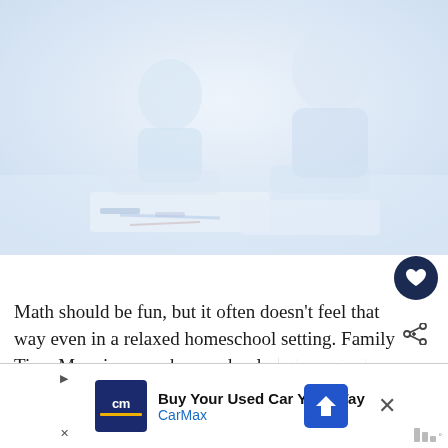[Figure (photo): Faded/washed-out photo of a child and adult (likely parent or teacher) looking at papers or a book together on a table, in a homeschool setting]
Math should be fun, but it often doesn't feel that way even in a relaxed homeschool setting. Family Time Math is a new homeschool math curriculum that brings wonder back into homeschool math.
[Figure (infographic): What's Next panel showing a thumbnail and text: 'WriteAtHome: Online Writin...']
[Figure (infographic): Advertisement banner: Buy Your Used Car Your Way - CarMax]